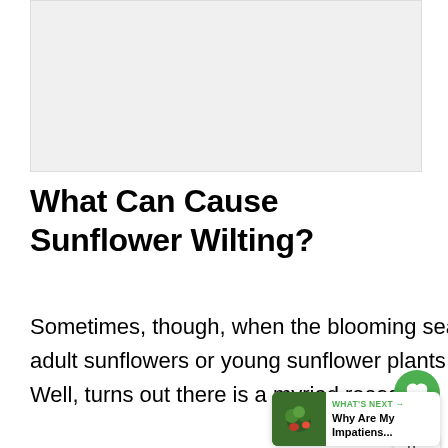[Figure (photo): Light gray placeholder image area at the top of the page]
What Can Cause Sunflower Wilting?
Sometimes, though, when the blooming season arrives, you might feel that your adult sunflowers or young sunflower plants are wilting for no apparent reason. Well, turns out there is a myriad reasons: